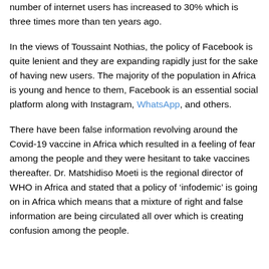number of internet users has increased to 30% which is three times more than ten years ago.
In the views of Toussaint Nothias, the policy of Facebook is quite lenient and they are expanding rapidly just for the sake of having new users. The majority of the population in Africa is young and hence to them, Facebook is an essential social platform along with Instagram, WhatsApp, and others.
There have been false information revolving around the Covid-19 vaccine in Africa which resulted in a feeling of fear among the people and they were hesitant to take vaccines thereafter. Dr. Matshidiso Moeti is the regional director of WHO in Africa and stated that a policy of ‘infodemic’ is going on in Africa which means that a mixture of right and false information are being circulated all over which is creating confusion among the people.